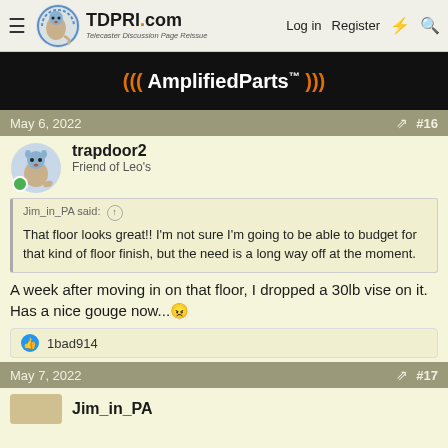TDPRI.com — Telecaster Discussion Page Reissue — Log in  Register
[Figure (other): AmplifiedParts advertisement banner — dark background with orange and white logo text '((AmplifiedParts))' with sound wave parentheses]
May 6, 2022  #16
trapdoor2
Friend of Leo's
Jim_in_PA said: ↑
That floor looks great!! I'm not sure I'm going to be able to budget for that kind of floor finish, but the need is a long way off at the moment.
A week after moving in on that floor, I dropped a 30lb vise on it. Has a nice gouge now... 😠
👍 1bad914
May 7, 2022  #17
Jim_in_PA